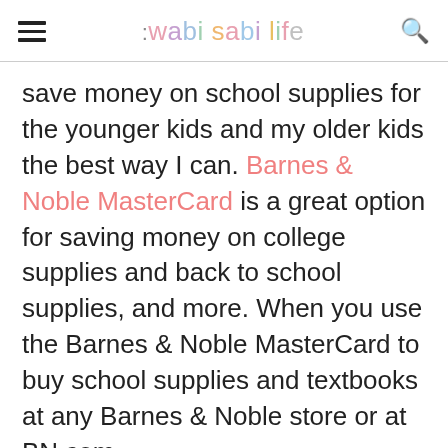the wabi sabi life
save money on school supplies for the younger kids and my older kids the best way I can. Barnes & Noble MasterCard is a great option for saving money on college supplies and back to school supplies, and more. When you use the Barnes & Noble MasterCard to buy school supplies and textbooks at any Barnes & Noble store or at BN.com . you will get 5% back. It even counts